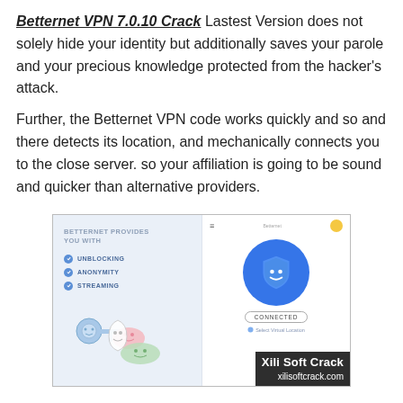Betternet VPN 7.0.10 Crack Lastest Version does not solely hide your identity but additionally saves your parole and your precious knowledge protected from the hacker's attack.
Further, the Betternet VPN code works quickly and so and there detects its location, and mechanically connects you to the close server. so your affiliation is going to be sound and quicker than alternative providers.
[Figure (screenshot): Screenshot of Betternet VPN app interface showing 'BETTERNET PROVIDES YOU WITH' with features UNBLOCKING, ANONYMITY, STREAMING, illustrated keys and shield characters on the left, and the VPN app UI with shield icon, CONNECTED button on the right. Watermark reads 'Xili Soft Crack xilisoftcrack.com']
Betternet VPN 7.0.10 Full Version is a fantastic center of individual